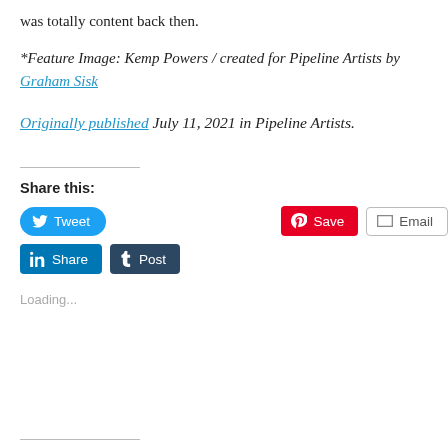was totally content back then.
*Feature Image: Kemp Powers / created for Pipeline Artists by Graham Sisk
Originally published July 11, 2021 in Pipeline Artists.
Share this:
[Figure (other): Social share buttons: Tweet, Save (Pinterest), Email, Share (LinkedIn), Post (Tumblr)]
Loading...